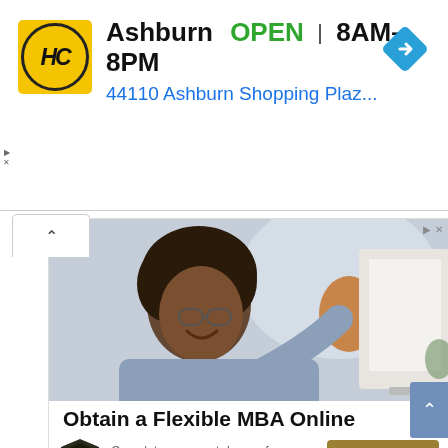[Figure (screenshot): Top advertisement banner: Hairclub (HC logo in yellow square), 'Ashburn OPEN | 8AM-8PM' text, '44110 Ashburn Shopping Plaz...' address in blue, navigation diamond icon top right, ad controls on left]
[Figure (screenshot): Second advertisement block showing a man waving at a computer monitor, with ad controls top right, 'Obtain a Flexible MBA Online' headline, shield logo, descriptive text 'Complete your next degree from wherever you are. No travel or...' and a golden 'Learn More >' button]